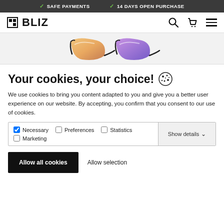✓ SAFE PAYMENTS   ✓ 14 DAYS OPEN PURCHASE
[Figure (logo): BLIZ brand logo with grid icon and text]
[Figure (illustration): Two pairs of sport sunglasses with colored mirror lenses - one with orange/gold lens and one with purple/blue lens]
Your cookies, your choice!
We use cookies to bring you content adapted to you and give you a better user experience on our website. By accepting, you confirm that you consent to our use of cookies.
Necessary (checked), Preferences, Statistics, Marketing
Show details
Allow all cookies
Allow selection